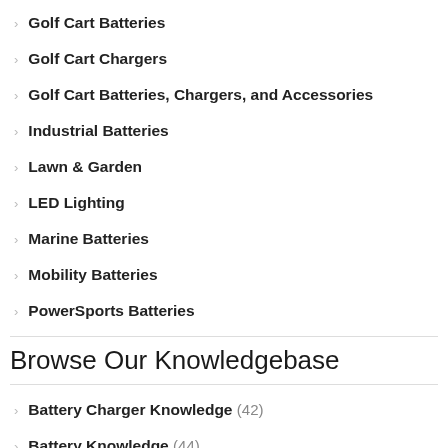Golf Cart Batteries
Golf Cart Chargers
Golf Cart Batteries, Chargers, and Accessories
Industrial Batteries
Lawn & Garden
LED Lighting
Marine Batteries
Mobility Batteries
PowerSports Batteries
Browse Our Knowledgebase
Battery Charger Knowledge (42)
Battery Knowledge (44)
Car Stuff (3)
Events (10)
Golf Cart Stuff (23)
How To (16)